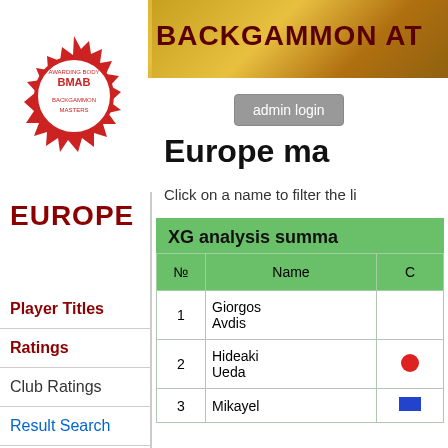[Figure (logo): BMAB Backgammon Masters Awarding Body circular red logo with BMAB text in center]
EUROPE
BACKGAMMON AT
Player Titles
Ratings
Club Ratings
Result Search
Contact
admin login
Europe ma
Click on a name to filter the li
XG analysis summa
| № | Name | C |
| --- | --- | --- |
| 1 | Giorgos Avdis |  |
| 2 | Hideaki Ueda | ● Jap |
| 3 | Mikayel | R |